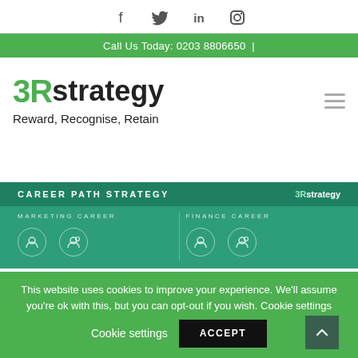Social icons: Facebook, Twitter, LinkedIn, Instagram
Call Us Today: 0203 8806650 |
3R strategy — Reward, Recognise, Retain
[Figure (screenshot): Career Path Strategy banner showing Marketing Career and Finance Career sections with circular icons on a green background, with 3Rstrategy logo]
This website uses cookies to improve your experience. We'll assume you're ok with this, but you can opt-out if you wish. Cookie settings ACCEPT